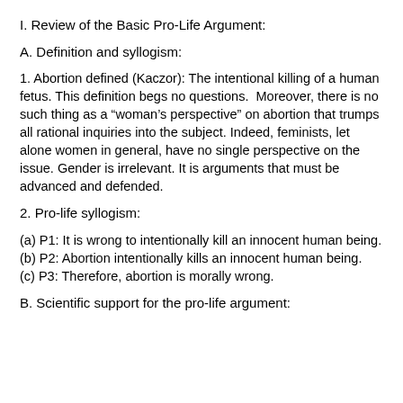I. Review of the Basic Pro-Life Argument:
A. Definition and syllogism:
1. Abortion defined (Kaczor): The intentional killing of a human fetus. This definition begs no questions.  Moreover, there is no such thing as a “woman’s perspective” on abortion that trumps all rational inquiries into the subject. Indeed, feminists, let alone women in general, have no single perspective on the issue. Gender is irrelevant. It is arguments that must be advanced and defended.
2. Pro-life syllogism:
(a) P1: It is wrong to intentionally kill an innocent human being.
(b) P2: Abortion intentionally kills an innocent human being.
(c) P3: Therefore, abortion is morally wrong.
B. Scientific support for the pro-life argument: